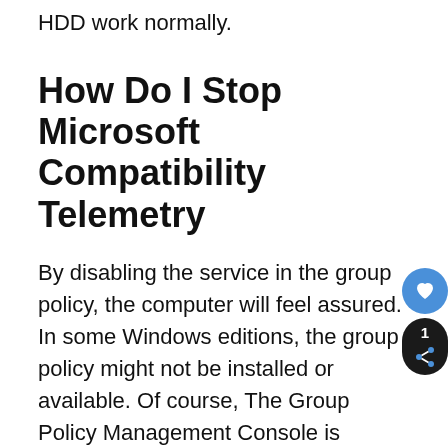HDD work normally.
How Do I Stop Microsoft Compatibility Telemetry
By disabling the service in the group policy, the computer will feel assured. In some Windows editions, the group policy might not be installed or available. Of course, The Group Policy Management Console is available for installation, so check out third party sources for further information.